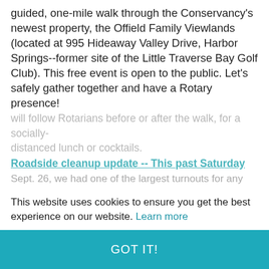guided, one-mile walk through the Conservancy's newest property, the Offield Family Viewlands (located at 995 Hideaway Valley Drive, Harbor Springs--former site of the Little Traverse Bay Golf Club). This free event is open to the public. Let's safely gather together and have a Rotary presence! Please click here to register.
Winter Sports Park walk next Sat. Oct. 10 at 3:00 PM -- If you love walks, you're in luck! Following the Fall Leaf Walk next Tuesday, Rotary is organizing an informal gathering / walk around the Winter Sports Park next Sat. October 10 at 3:00 PM. This is the site of our Centennial Service Project the
This website uses cookies to ensure you get the best experience on our website. Learn more
will follow Rotarians before or after the walk, for a socially-distanced lunch or cocktails.
GOT IT!
Roadside cleanup update -- This past Saturday Sept. 26, we had one of the largest turnouts for any